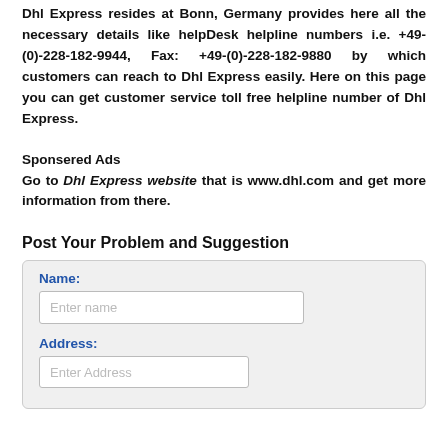Dhl Express resides at Bonn, Germany provides here all the necessary details like helpDesk helpline numbers i.e. +49-(0)-228-182-9944, Fax: +49-(0)-228-182-9880 by which customers can reach to Dhl Express easily. Here on this page you can get customer service toll free helpline number of Dhl Express.
Sponsered Ads
Go to Dhl Express website that is www.dhl.com and get more information from there.
Post Your Problem and Suggestion
Name: [form field: Enter name] Address: [form field: Enter Address]